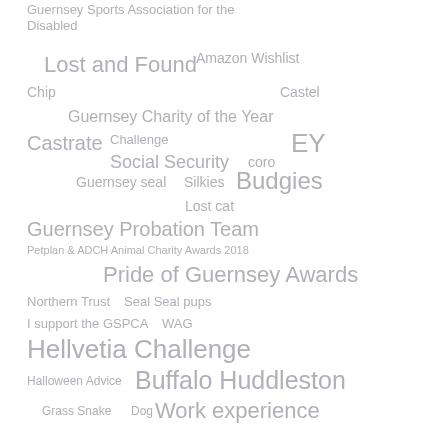[Figure (infographic): Tag cloud / word cloud featuring various terms related to GSPCA Guernsey animal charity, sports, and community topics in varying font sizes, all in gray color on white background. Terms include: Guernsey Sports Association for the Disabled, Lost and Found, Amazon Wishlist, Chip, Castel, Guernsey Charity of the Year, Castrate, Challenge, EY, Social Security, coro, Guernsey seal, Silkies, Budgies, Lost cat, Guernsey Probation Team, Petplan & ADCH Animal Charity Awards 2018, Pride of Guernsey Awards, Northern Trust, Seal Seal pups, I support the GSPCA, WAG, Hellvetia Challenge, Halloween Advice, Buffalo Huddleston, Grass Snake, Dog, Work experience]